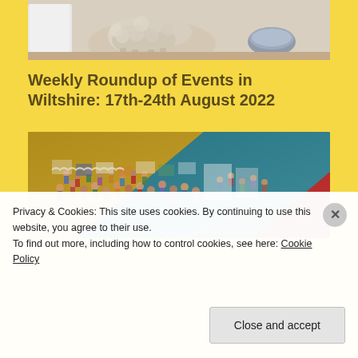[Figure (photo): Partial photo of an animal (sheep or similar fluffy animal) with a metal bowl visible in the background, cropped at the top of the page]
Weekly Roundup of Events in Wiltshire: 17th-24th August 2022
[Figure (photo): Overhead/aerial view of a crowded indoor market or event with many people and stalls, overlaid with colorful diagonal graphic elements in yellow, teal, and red]
Privacy & Cookies: This site uses cookies. By continuing to use this website, you agree to their use.
To find out more, including how to control cookies, see here: Cookie Policy
Close and accept